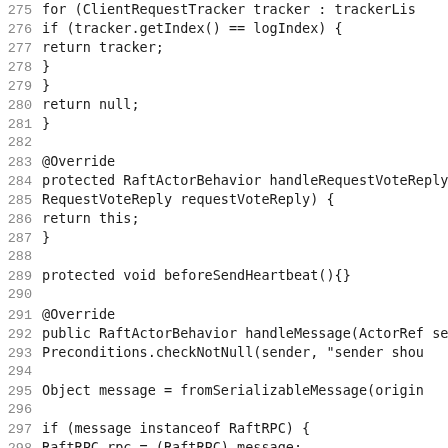Source code listing, lines 275-306, Java/Raft actor behavior implementation